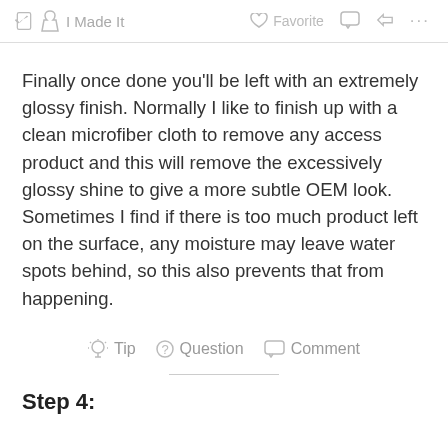I Made It   Favorite   Comment   Share   ...
Finally once done you’ll be left with an extremely glossy finish. Normally I like to finish up with a clean microfiber cloth to remove any access product and this will remove the excessively glossy shine to give a more subtle OEM look. Sometimes I find if there is too much product left on the surface, any moisture may leave water spots behind, so this also prevents that from happening.
Tip   Question   Comment
Step 4: